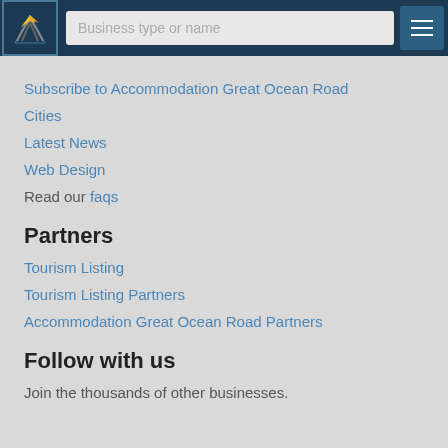[Figure (screenshot): Website header with logo, search box with placeholder 'Business type or name', and hamburger menu button on dark navy background]
Subscribe to Accommodation Great Ocean Road
Cities
Latest News
Web Design
Read our faqs
Partners
Tourism Listing
Tourism Listing Partners
Accommodation Great Ocean Road Partners
Follow with us
Join the thousands of other businesses.